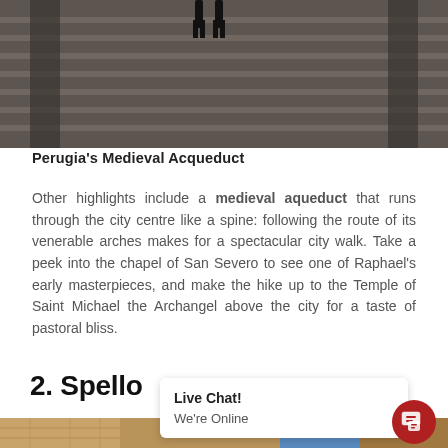[Figure (photo): Wide stone steps with people walking, Perugia medieval architecture]
Perugia's Medieval Acqueduct
Other highlights include a medieval aqueduct that runs through the city centre like a spine: following the route of its venerable arches makes for a spectacular city walk. Take a peek into the chapel of San Severo to see one of Raphael's early masterpieces, and make the hike up to the Temple of Saint Michael the Archangel above the city for a taste of pastoral bliss.
2. Spello
[Figure (photo): Narrow alleyway in Spello with stone buildings and blue sky]
Live Chat!
We're Online